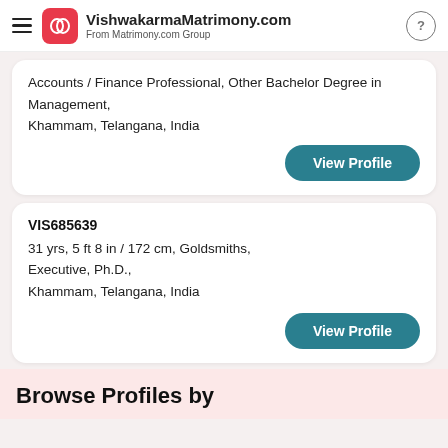VishwakarmaMatrimony.com — From Matrimony.com Group
Accounts / Finance Professional, Other Bachelor Degree in Management,
Khammam, Telangana, India
View Profile
VIS685639
31 yrs, 5 ft 8 in / 172 cm, Goldsmiths,
Executive, Ph.D.,
Khammam, Telangana, India
View Profile
Browse Profiles by